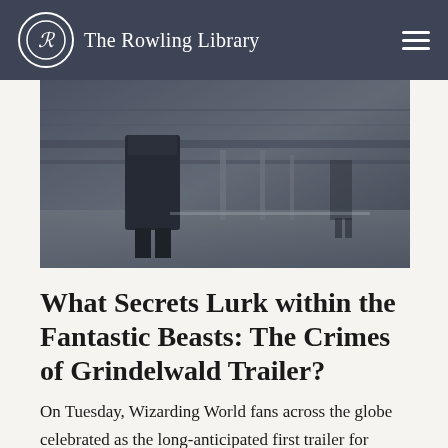The Rowling Library
[Figure (photo): A dark, moody cinematic still showing a figure in a long coat standing in what appears to be a train station or similar interior setting, with muted blue-grey tones.]
What Secrets Lurk within the Fantastic Beasts: The Crimes of Grindelwald Trailer?
On Tuesday, Wizarding World fans across the globe celebrated as the long-anticipated first trailer for Fantastic Beasts 2 finally apparated online. And while the sight of wizards apparating onto Hogwarts grounds